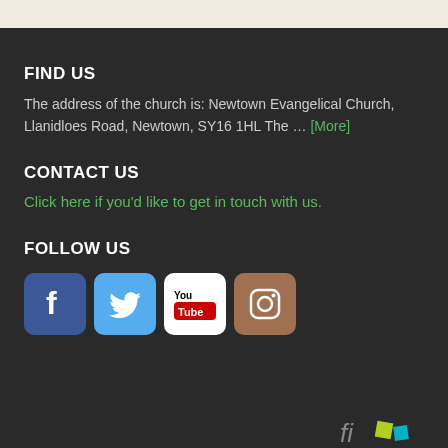FIND US
The address of the church is: Newtown Evangelical Church, Llanidloes Road, Newtown, SY16 1HL The ... [More]
CONTACT US
Click here if you'd like to get in touch with us.
FOLLOW US
[Figure (logo): Social media icons: Facebook, Twitter, YouTube, Instagram]